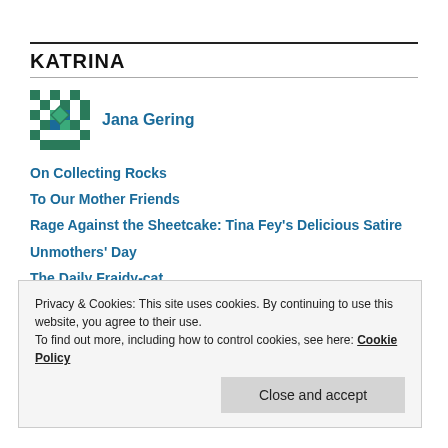KATRINA
[Figure (logo): Decorative quilt-pattern avatar in teal/dark green geometric design]
Jana Gering
On Collecting Rocks
To Our Mother Friends
Rage Against the Sheetcake: Tina Fey's Delicious Satire
Unmothers' Day
The Daily Fraidy-cat
Privacy & Cookies: This site uses cookies. By continuing to use this website, you agree to their use.
To find out more, including how to control cookies, see here: Cookie Policy
Close and accept